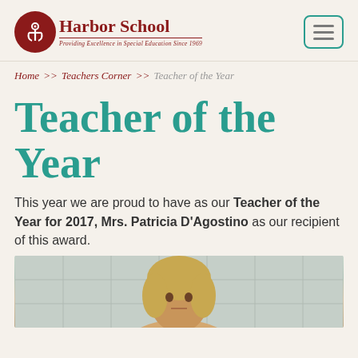Harbor School — Providing Excellence in Special Education Since 1969
Home >> Teachers Corner >> Teacher of the Year
Teacher of the Year
This year we are proud to have as our Teacher of the Year for 2017, Mrs. Patricia D'Agostino as our recipient of this award.
[Figure (photo): Portrait photo of Mrs. Patricia D'Agostino, Teacher of the Year 2017, shown from shoulders up against a light-colored tiled wall background]